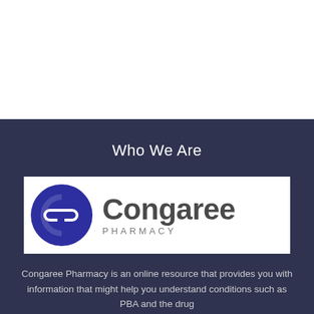Who We Are
[Figure (logo): Congaree Pharmacy logo with blue pill-shaped icon and wordmark]
Congaree Pharmacy is an online resource that provides you with information that might help you understand conditions such as PBA and the drug